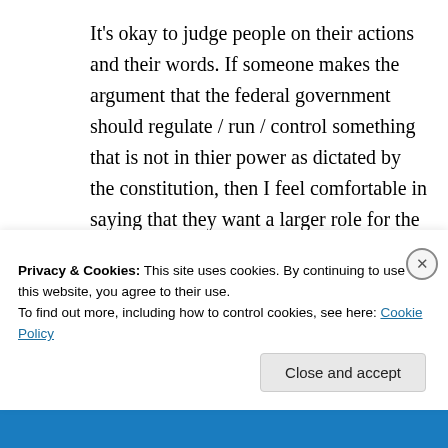It's okay to judge people on their actions and their words. If someone makes the argument that the federal government should regulate / run / control something that is not in thier power as dictated by the constitution, then I feel comfortable in saying that they want a larger role for the federal government and / or more govt. control of people's lives. They might have the best intentions for doing this, but that doesn't make it right. If the federal government decided
Privacy & Cookies: This site uses cookies. By continuing to use this website, you agree to their use.
To find out more, including how to control cookies, see here: Cookie Policy